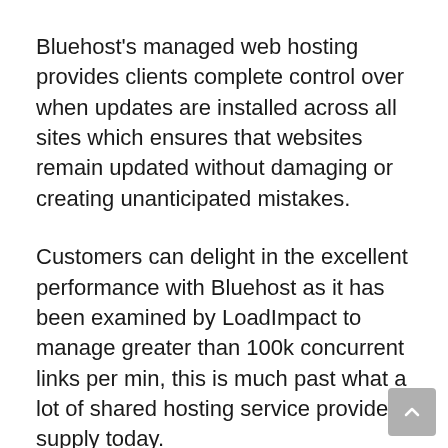Bluehost's managed web hosting provides clients complete control over when updates are installed across all sites which ensures that websites remain updated without damaging or creating unanticipated mistakes.
Customers can delight in the excellent performance with Bluehost as it has been examined by LoadImpact to manage greater than 100k concurrent links per min, this is much past what a lot of shared hosting service providers supply today.
Bluehost is sponsored by the Google cloud system that guarantees that your site is up and also running at all times. It is likewise